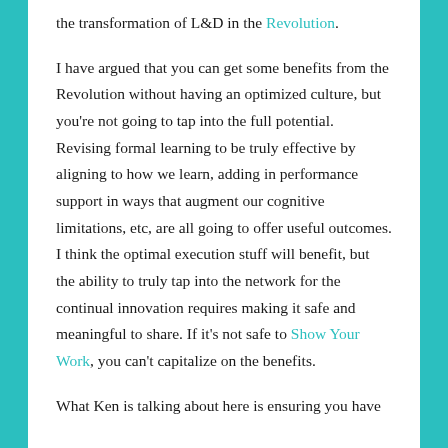the transformation of L&D in the Revolution.
I have argued that you can get some benefits from the Revolution without having an optimized culture, but you're not going to tap into the full potential. Revising formal learning to be truly effective by aligning to how we learn, adding in performance support in ways that augment our cognitive limitations, etc, are all going to offer useful outcomes. I think the optimal execution stuff will benefit, but the ability to truly tap into the network for the continual innovation requires making it safe and meaningful to share. If it's not safe to Show Your Work, you can't capitalize on the benefits.
What Ken is talking about here is ensuring you have